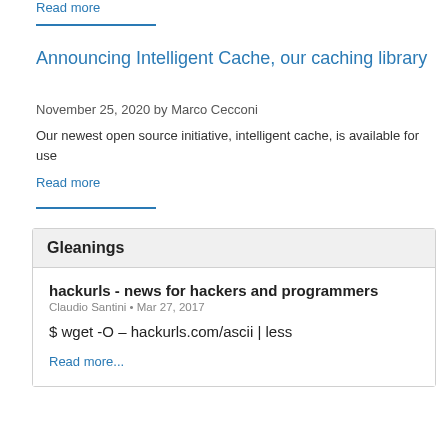Read more
Announcing Intelligent Cache, our caching library
November 25, 2020 by Marco Cecconi
Our newest open source initiative, intelligent cache, is available for use
Read more
Gleanings
hackurls - news for hackers and programmers
Claudio Santini • Mar 27, 2017
$ wget -O – hackurls.com/ascii | less
Read more...